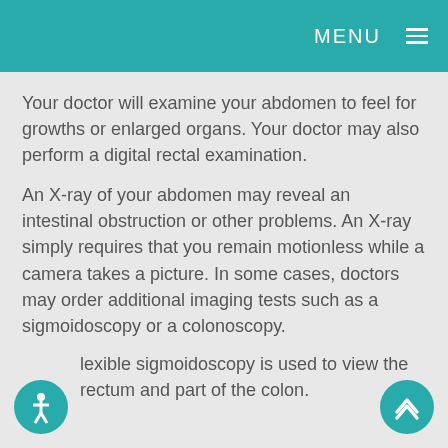MENU
Your doctor will examine your abdomen to feel for growths or enlarged organs.  Your doctor may also perform a digital rectal examination.
An X-ray of your abdomen may reveal an intestinal obstruction or other problems.  An X-ray simply requires that you remain motionless while a camera takes a picture.  In some cases, doctors may order additional imaging tests such as a sigmoidoscopy or a colonoscopy.
flexible sigmoidoscopy is used to view the rectum and part of the colon.